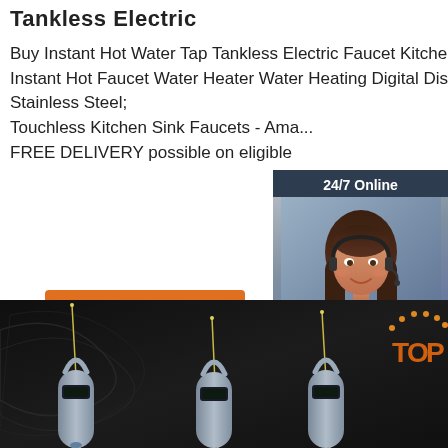Tankless Electric
Buy Instant Hot Water Tap Tankless Electric Faucet Kitchen Instant Hot Faucet Water Heater Water Heating Digital Display, Stainless Steel; Touchless Kitchen Sink Faucets - Ama... FREE DELIVERY possible on eligible
24/7 Online
[Figure (photo): Woman with headset smiling, customer service representative]
Click here for free chat !
QUOTATION
Get Price
[Figure (photo): Product image showing tankless electric water heater faucets on dark background with TOP logo]